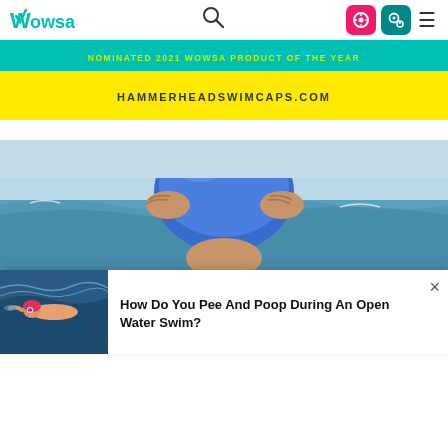WOWSA
[Figure (screenshot): Ad banner: teal strip with 'NOMINATED 2021 WOWSA PRODUCT OF THE YEAR' and yellow strip with 'HAMMERHEADSWIMCAPS.COM']
[Figure (photo): Swimmer in blue swim cap adjusting goggles at the beach with ocean waves in background]
[Figure (photo): Open water swimmer in the sea thumbnail for article]
How Do You Pee And Poop During An Open Water Swim?